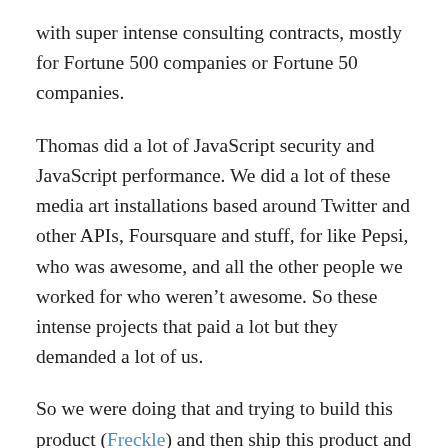with super intense consulting contracts, mostly for Fortune 500 companies or Fortune 50 companies.
Thomas did a lot of JavaScript security and JavaScript performance. We did a lot of these media art installations based around Twitter and other APIs, Foursquare and stuff, for like Pepsi, who was awesome, and all the other people we worked for who weren’t awesome. So these intense projects that paid a lot but they demanded a lot of us.
So we were doing that and trying to build this product (Freckle) and then ship this product and then support the product after we shipped it and add new features and stuff. And it was really chaotic for about a year and a half.
And at the end of 2009, I knew that I could not do that